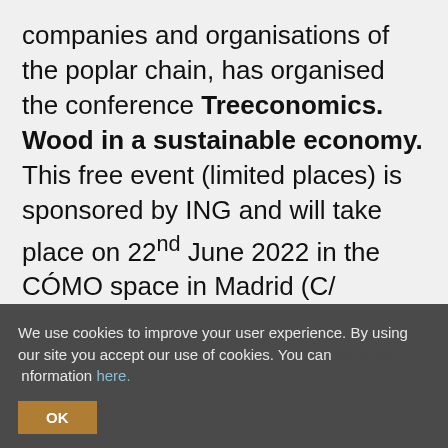companies and organisations of the poplar chain, has organised the conference Treeconomics. Wood in a sustainable economy. This free event (limited places) is sponsored by ING and will take place on 22nd June 2022 in the CÓMO space in Madrid (C/Pradillo 60). In Spain, according to 2019 data from the Joint Research Center (JRC) -Common Research Center of the European Union-, the whole bioeconomy sector generated 1.44
We use cookies to improve your user experience. By using our site you accept our use of cookies. You can get more information here.